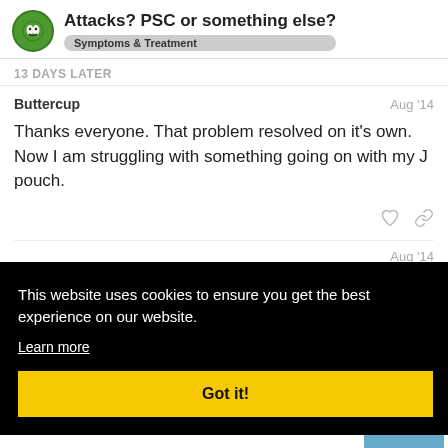Attacks? PSC or something else? — Symptoms & Treatment
13 DAYS LATER
Buttercup — Aug '14
Thanks everyone. That problem resolved on it's own. Now I am struggling with something going on with my J pouch.
Aug '14
This website uses cookies to ensure you get the best experience on our website. Learn more — Got it!